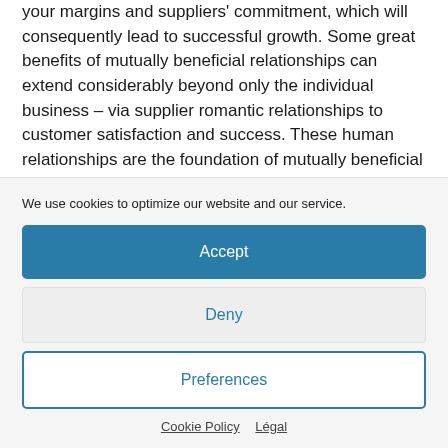your margins and suppliers' commitment, which will consequently lead to successful growth. Some great benefits of mutually beneficial relationships can extend considerably beyond only the individual business – via supplier romantic relationships to customer satisfaction and success. These human relationships are the foundation of mutually beneficial organization. If a person would decide to build a sustainable...
We use cookies to optimize our website and our service.
Accept
Deny
Preferences
Cookie Policy  Légal